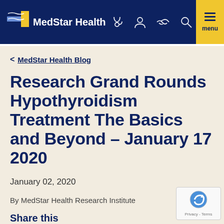MedStar Health
< MedStar Health Blog
Research Grand Rounds Hypothyroidism Treatment The Basics and Beyond – January 17 2020
January 02, 2020
By MedStar Health Research Institute
Share this